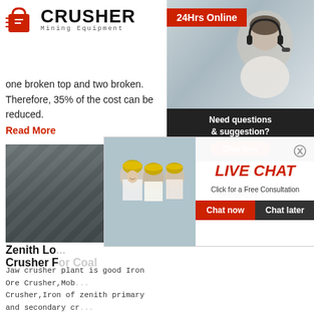[Figure (logo): Crusher Mining Equipment logo with red shopping bag icon and bold CRUSHER text]
one broken top and two broken. Therefore, 35% of the cost can be reduced.
Read More
[Figure (photo): Industrial conveyor belt / mining equipment overhead view]
[Figure (photo): Live chat popup overlay with workers in yellow hard hats and LIVE CHAT heading, Chat now and Chat later buttons]
Zenith Lo... Crusher For Coal
Jaw crusher plant is good Iron Ore Crusher,Mob... Crusher,Iron of zenith primary and secondary cr... low crusher for sale Coal. Prices / Quote Hot Sa... Excellent Impact Crusher Lm9000 Low Price
Read More
[Figure (photo): Sandy/rocky ground photo]
[Figure (photo): Sidebar: 24Hrs Online banner with customer service representative wearing headset]
Need questions & suggestion?
Chat Now
Enquiry
limingjlmofen@sina.com